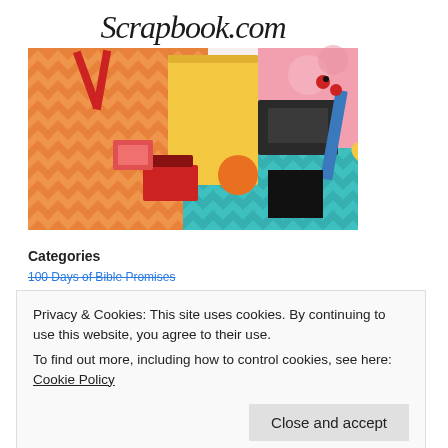[Figure (photo): Scrapbook.com logo and product photo showing scrapbooking supplies including scissors, paper, stamps, and crafting tools in orange, yellow, pink, teal, and red colors.]
Categories
100 Days of Bible Promises
Privacy & Cookies: This site uses cookies. By continuing to use this website, you agree to their use.
To find out more, including how to control cookies, see here: Cookie Policy
Close and accept